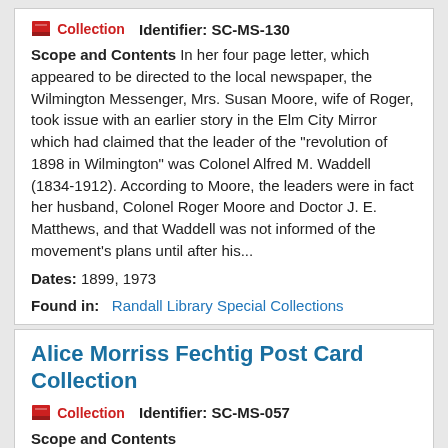Collection   Identifier: SC-MS-130
Scope and Contents In her four page letter, which appeared to be directed to the local newspaper, the Wilmington Messenger, Mrs. Susan Moore, wife of Roger, took issue with an earlier story in the Elm City Mirror which had claimed that the leader of the "revolution of 1898 in Wilmington" was Colonel Alfred M. Waddell (1834-1912). According to Moore, the leaders were in fact her husband, Colonel Roger Moore and Doctor J. E. Matthews, and that Waddell was not informed of the movement's plans until after his...
Dates: 1899, 1973
Found in:   Randall Library Special Collections
Alice Morriss Fechtig Post Card Collection
Collection   Identifier: SC-MS-057
Scope and Contents
This collection contains several albums of postcards, loose postcards, photographs, and two bound copies